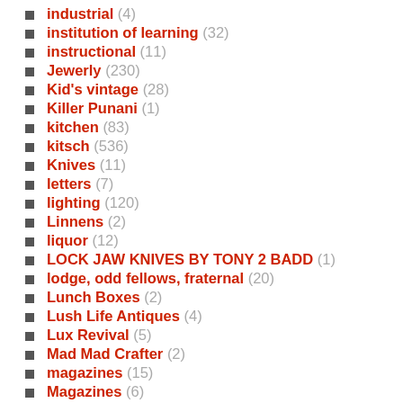industrial (4)
institution of learning (32)
instructional (11)
Jewerly (230)
Kid's vintage (28)
Killer Punani (1)
kitchen (83)
kitsch (536)
Knives (11)
letters (7)
lighting (120)
Linnens (2)
liquor (12)
LOCK JAW KNIVES BY TONY 2 BADD (1)
lodge, odd fellows, fraternal (20)
Lunch Boxes (2)
Lush Life Antiques (4)
Lux Revival (5)
Mad Mad Crafter (2)
magazines (15)
Magazines (6)